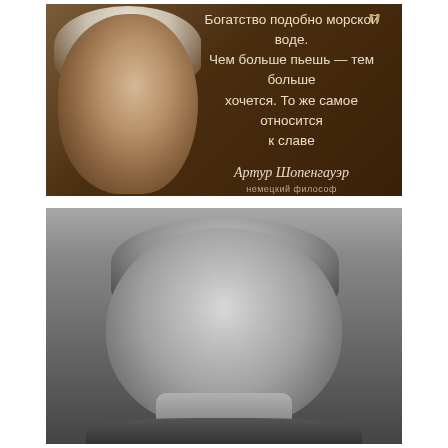[Figure (photo): Color portrait of Arthur Schopenhauer (elderly man with white hair) with a Russian quote overlaid: 'Богатство подобно морской воде. Чем больше пьешь — тем больше хочется. То же самое относится к славе' attributed to Артур Шопенгауэр, немецкий философ]
[Figure (photo): Black and white portrait photograph of Arthur Schopenhauer, elderly man with prominent forehead and white side hair, wearing dark coat with white collar]